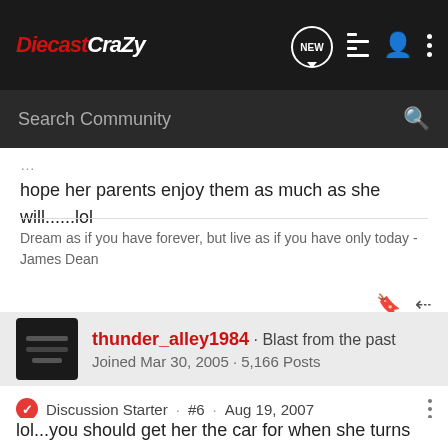[Figure (screenshot): DiecastCrazy community forum navigation bar with logo, NEW chat button, list icon, person icon, and dots menu, all on dark background]
[Figure (screenshot): Search Community input bar on dark background with magnifying glass icon]
hope her parents enjoy them as much as she will......lol
Dream as if you have forever, but live as if you have only today -James Dean
thunder_alley1984 · Blast from the past
Joined Mar 30, 2005 · 5,166 Posts
Discussion Starter · #6 · Aug 19, 2007
lol...you should get her the car for when she turns 16 or 18 something like that...I bet no matter what age she'd still love it.